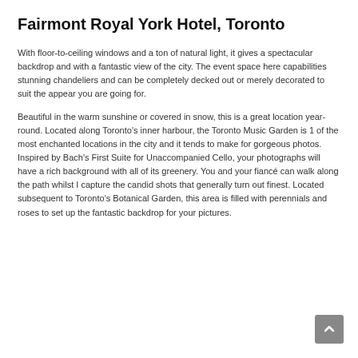Fairmont Royal York Hotel, Toronto
With floor-to-ceiling windows and a ton of natural light, it gives a spectacular backdrop and with a fantastic view of the city. The event space here capabilities stunning chandeliers and can be completely decked out or merely decorated to suit the appear you are going for.
Beautiful in the warm sunshine or covered in snow, this is a great location year-round. Located along Toronto’s inner harbour, the Toronto Music Garden is 1 of the most enchanted locations in the city and it tends to make for gorgeous photos. Inspired by Bach’s First Suite for Unaccompanied Cello, your photographs will have a rich background with all of its greenery. You and your fiancé can walk along the path whilst I capture the candid shots that generally turn out finest. Located subsequent to Toronto’s Botanical Garden, this area is filled with perennials and roses to set up the fantastic backdrop for your pictures.